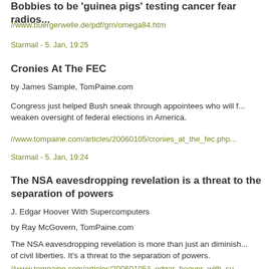Bobbies to be 'guinea pigs' testing cancer fear radios...
//www.buergerwelle.de/pdf/grn/omega84.htm
Starmail - 5. Jan, 19:25
Cronies At The FEC
by James Sample, TomPaine.com
Congress just helped Bush sneak through appointees who will f... weaken oversight of federal elections in America.
//www.tompaine.com/articles/20060105/cronies_at_the_fec.php...
Starmail - 5. Jan, 19:24
The NSA eavesdropping revelation is a threat to the separation of powers
J. Edgar Hoover With Supercomputers
by Ray McGovern, TomPaine.com
The NSA eavesdropping revelation is more than just an diminish... of civil liberties. It's a threat to the separation of powers.
//www.tompaine.com/articles/20060105/j_edgar_hoover_with_su...
Starmail - 5. Jan, 19:22